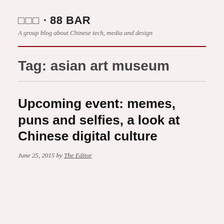□□□ · 88 BAR
A group blog about Chinese tech, media and design
Tag: asian art museum
Upcoming event: memes, puns and selfies, a look at Chinese digital culture
June 25, 2015 by The Editor